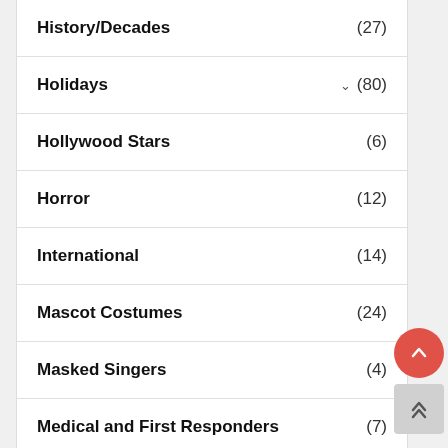History/Decades (27)
Holidays (80)
Hollywood Stars (6)
Horror (12)
International (14)
Mascot Costumes (24)
Masked Singers (4)
Medical and First Responders (7)
Period / Historic (76)